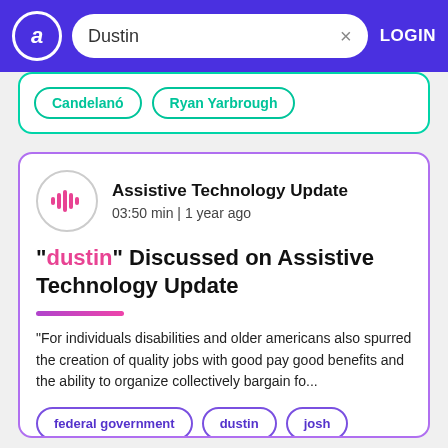a  Dustin  ×  LOGIN
Candelanó  Ryan Yarbrough
Assistive Technology Update
03:50 min | 1 year ago
"dustin" Discussed on Assistive Technology Update
"For individuals disabilities and older americans also spurred the creation of quality jobs with good pay good benefits and the ability to organize collectively bargain fo...
federal government  dustin  josh